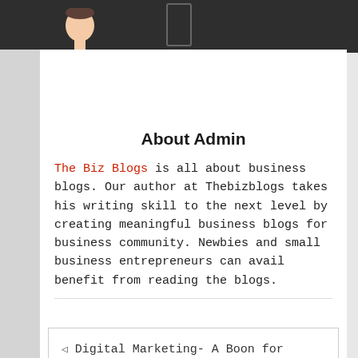[Figure (photo): Avatar image of a person in a suit with a blue tie, partially visible at top]
About Admin
The Biz Blogs is all about business blogs. Our author at Thebizblogs takes his writing skill to the next level by creating meaningful business blogs for business community. Newbies and small business entrepreneurs can avail benefit from reading the blogs.
← Digital Marketing- A Boon for Startup Online Businesses
FameGame Looking For Reality TV →